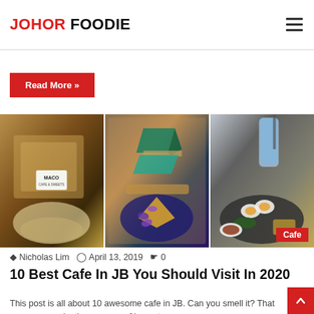JOHOR FOODIE
...this content can also leave you dizzy and with gentle...
Read More »
[Figure (photo): Collage of three food photos: waffle dish with MACO Cafe label (left), decorative cake slices on wooden boards with purple flowers (center), blue drink and breakfast plate (right). Tag: Cafe]
Nicholas Lim  April 13, 2019  0
10 Best Cafe In JB You Should Visit In 2020
This post is all about 10 awesome cafe in JB. Can you smell it? That gorgeous, seductive aroma wafting out…